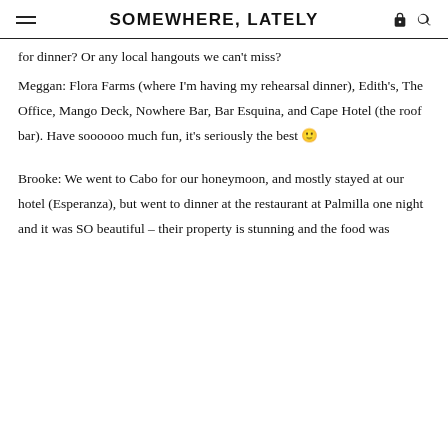SOMEWHERE, LATELY
for dinner? Or any local hangouts we can't miss?
Meggan: Flora Farms (where I'm having my rehearsal dinner), Edith's, The Office, Mango Deck, Nowhere Bar, Bar Esquina, and Cape Hotel (the roof bar). Have soooooo much fun, it's seriously the best 🙂
Brooke: We went to Cabo for our honeymoon, and mostly stayed at our hotel (Esperanza), but went to dinner at the restaurant at Palmilla one night and it was SO beautiful – their property is stunning and the food was